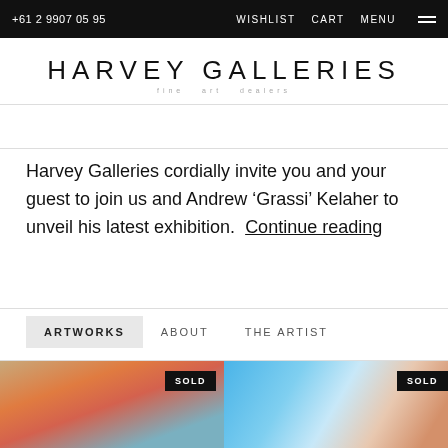+61 2 9907 0595   WISHLIST   CART   MENU
HARVEY GALLERIES
fine art dealers
Harvey Galleries cordially invite you and your guest to join us and Andrew ‘Grassi’ Kelaher to unveil his latest exhibition.  Continue reading
ARTWORKS   ABOUT   THE ARTIST
[Figure (photo): Two artwork thumbnails side by side, both marked SOLD. Left: warm-toned landscape with orange and blue. Right: blue swirling abstract with warm skin tones.]